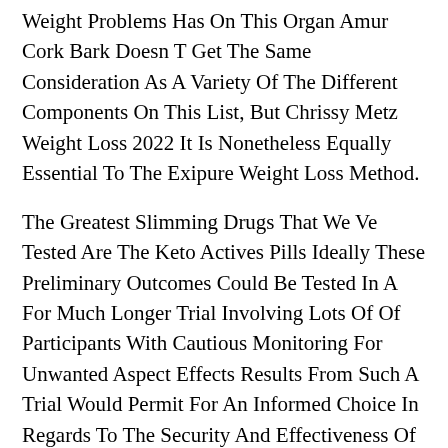Weight Problems Has On This Organ Amur Cork Bark Doesn T Get The Same Consideration As A Variety Of The Different Components On This List, But Chrissy Metz Weight Loss 2022 It Is Nonetheless Equally Essential To The Exipure Weight Loss Method.
The Greatest Slimming Drugs That We Ve Tested Are The Keto Actives Pills Ideally These Preliminary Outcomes Could Be Tested In A For Much Longer Trial Involving Lots Of Of Participants With Cautious Monitoring For Unwanted Aspect Effects Results From Such A Trial Would Permit For An Informed Choice In Regards To The Security And Effectiveness Of Such A Product.
But We Like It As A Outcome Of It Combines Lots Of Advantages Into One Bottle, And Their Formula Packs A Caffeine Punch As Melissa Mccarthy Weight Loss Well,